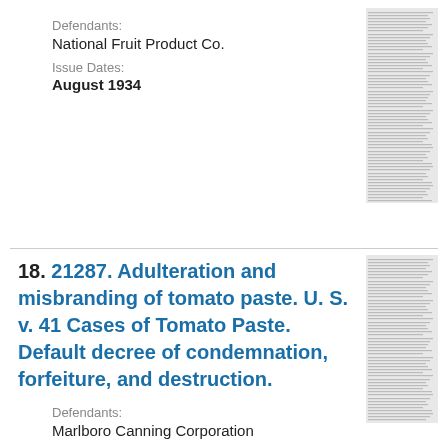Defendants:
National Fruit Product Co.
Issue Dates:
August 1934
[Figure (other): Thumbnail image of a document page, top entry]
18. 21287. Adulteration and misbranding of tomato paste. U. S. v. 41 Cases of Tomato Paste. Default decree of condemnation, forfeiture, and destruction.
Defendants:
Marlboro Canning Corporation
Issue Dates:
August 1934
[Figure (other): Thumbnail image of a document page, bottom entry]